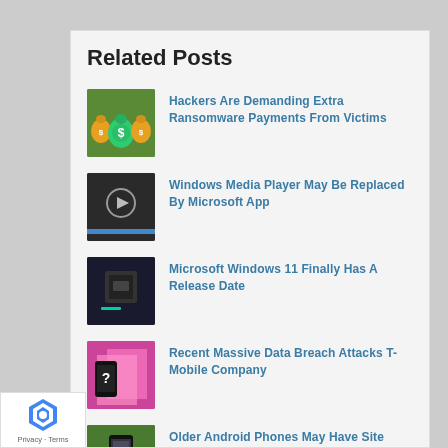Related Posts
Hackers Are Demanding Extra Ransomware Payments From Victims
Windows Media Player May Be Replaced By Microsoft App
Microsoft Windows 11 Finally Has A Release Date
Recent Massive Data Breach Attacks T-Mobile Company
Older Android Phones May Have Site Loading Issues In 2021